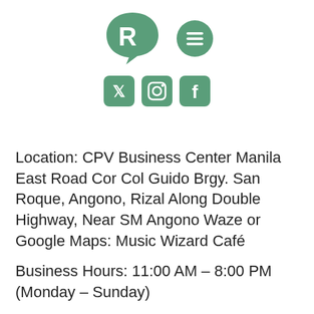[Figure (logo): Green chat-bubble with letter R logo icon and a green hamburger menu icon, plus Twitter, Instagram, and Facebook social media icons below]
Location: CPV Business Center Manila East Road Cor Col Guido Brgy. San Roque, Angono, Rizal Along Double Highway, Near SM Angono Waze or Google Maps: Music Wizard Café
Business Hours: 11:00 AM – 8:00 PM (Monday – Sunday)
Visit their Facebook page to learn more: https://www.facebook.com/musicwizardph/?ref=page_internal
Cozy ambiance, musical vibes, delicious food, and good coffee and drinks, what more could you ask for? It's like they have it all for you! What are you